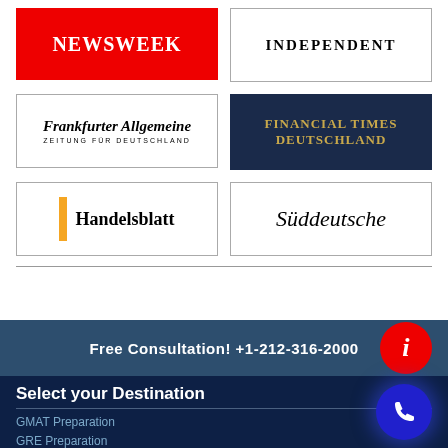[Figure (logo): Newsweek logo in red background with white text]
[Figure (logo): The Independent logo with uppercase serif letters and border]
[Figure (logo): Frankfurter Allgemeine Zeitung logo with italic serif text]
[Figure (logo): Financial Times Deutschland logo in dark navy with gold text]
[Figure (logo): Handelsblatt logo with orange bar and serif font]
[Figure (logo): Süddeutsche logo in italic serif font]
Free Consultation! +1-212-316-2000
Select your Destination
GMAT Preparation
GRE Preparation
LSAT Preparation
SAT Preparation
ACT Preparation
TOEFL Preparation